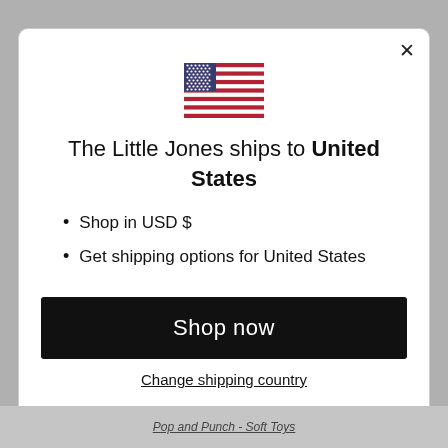[Figure (illustration): US flag emoji/icon centered at top of modal]
The Little Jones ships to United States
Shop in USD $
Get shipping options for United States
Shop now
Change shipping country
Pop and Punch - Soft Toys